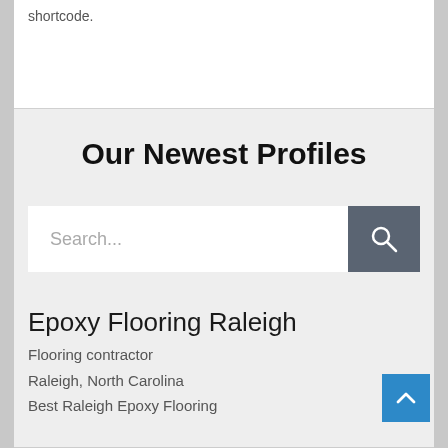shortcode.
Our Newest Profiles
[Figure (screenshot): Search bar with text field showing placeholder 'Search...' and a dark gray search button with magnifying glass icon]
Epoxy Flooring Raleigh
Flooring contractor
Raleigh, North Carolina
Best Raleigh Epoxy Flooring